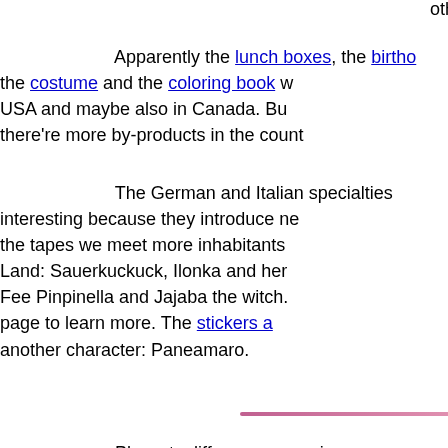others.
Apparently the lunch boxes, the birthday cake, the costume and the coloring book were sold in the USA and maybe also in Canada. But we think there're more by-products in the countries.
The German and Italian specialties are very interesting because they introduce new characters. In the tapes we meet more inhabitants of Kukuckuck Land: Sauerkuckuck, Ilonka and her husband, Fee Pinpinella and Jajaba the witch. Go to that page to learn more. The stickers also introduce another character: Paneamaro.
Playsets differences: coming soon.
Combs differences: coming soon.
The information on this page is mostly personal and observations, if you have more info or see something wrong here, let me know. Th